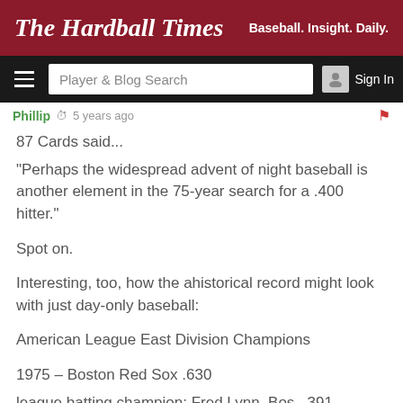The Hardball Times — Baseball. Insight. Daily.
Phillip · 5 years ago
87 Cards said...
"Perhaps the widespread advent of night baseball is another element in the 75-year search for a .400 hitter."

Spot on.

Interesting, too, how the ahistorical record might look with just day-only baseball:

American League East Division Champions

1975 – Boston Red Sox .630
league batting champion: Fred Lynn, Bos. .391